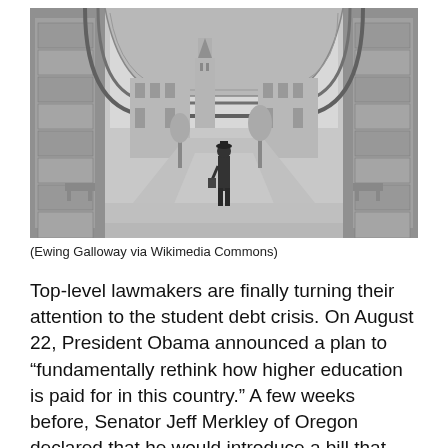[Figure (photo): Black and white historical photograph of a Gothic university campus seen through a large stone arch. A person in a dark suit and hat stands in the middle of a pathway, with ornate Gothic buildings and a tall tower visible in the background. Stone pillars flank both sides.]
(Ewing Galloway via Wikimedia Commons)
Top-level lawmakers are finally turning their attention to the student debt crisis. On August 22, President Obama announced a plan to “fundamentally rethink how higher education is paid for in this country.” A few weeks before, Senator Jeff Merkley of Oregon declared that he would introduce a bill that would spread Oregon’s “Pay It Forward” loan repayment proposal across the nation. No doubt, there is a widespread hunger